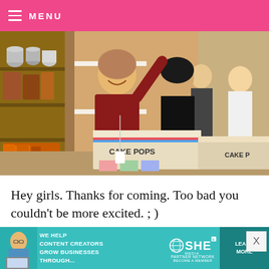MENU
[Figure (photo): Women in a kitchen/housewares store smiling and holding 'Cake Pops' book boxes, excited expression, shelves with cookware in background]
Hey girls. Thanks for coming. Too bad you couldn't be more excited. ; )
[Figure (infographic): SHE Media Partner Network advertisement banner: 'We help content creators grow businesses through...' with Learn More button]